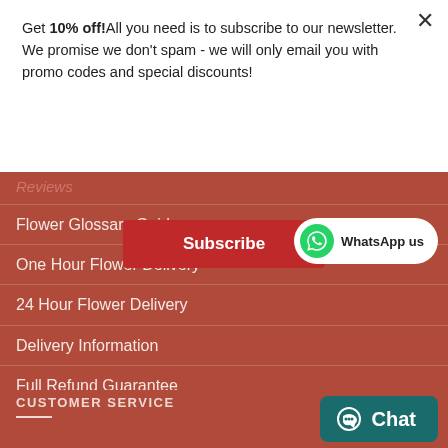Get 10% off!All you need is to subscribe to our newsletter. We promise we don't spam - we will only email you with promo codes and special discounts!
×
Subscribe
Reviews
Flower Glossary Guide
One Hour Flower Delivery
24 Hour Flower Delivery
Delivery Information
Full Refund Guarantee
[Figure (other): WhatsApp us button]
CUSTOMER SERVICE
[Figure (other): Chat button]